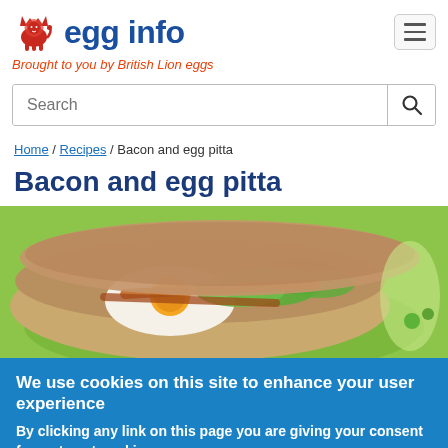egg info — Brought to you by British Lion eggs
Search
Home / Recipes / Bacon and egg pitta
Bacon and egg pitta
[Figure (photo): A bacon and egg pitta bread sandwich with salad greens on a green plate]
We use cookies on this site to enhance your user experience
By clicking any link on this page you are giving your consent for us to set cookies.
Ok   Find out more